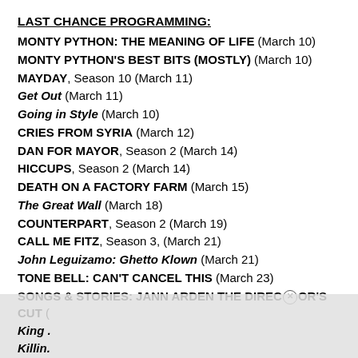LAST CHANCE PROGRAMMING:
MONTY PYTHON: THE MEANING OF LIFE (March 10)
MONTY PYTHON'S BEST BITS (MOSTLY) (March 10)
MAYDAY, Season 10 (March 11)
Get Out (March 11)
Going in Style (March 10)
CRIES FROM SYRIA (March 12)
DAN FOR MAYOR, Season 2 (March 14)
HICCUPS, Season 2 (March 14)
DEATH ON A FACTORY FARM (March 15)
The Great Wall (March 18)
COUNTERPART, Season 2 (March 19)
CALL ME FITZ, Season 3, (March 21)
John Leguizamo: Ghetto Klown (March 21)
TONE BELL: CAN'T CANCEL THIS (March 23)
SONGS & STORIES: JANN ARDEN THE DIRECTOR'S CUT (
King .
Killin.